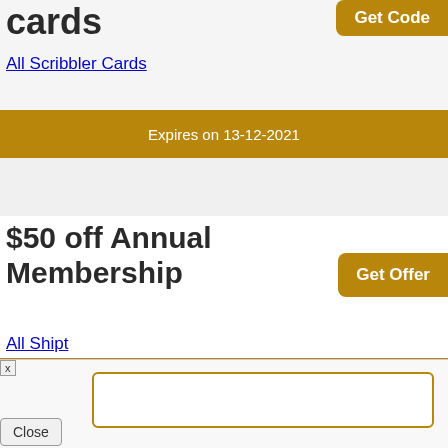cards
All Scribbler Cards
Expires on 13-12-2021
$50 off Annual Membership
All Shipt
Expires on 14-12-2021
About
HomeStores
Copyright © 2021. All rights reserved by herdingusa.